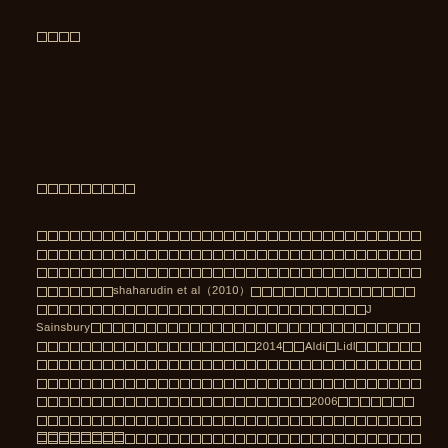□□□□
□□□□□□□□□
□□□□□□□□□□□□□□□□□□□□□□□□□□□□□□□□□□□□□□□□□□□□□□□□□□□□□□□□□□□□□□□□□□□□□□□□□□□□□□□□□□□□□□□□□□□□□□□□□□□□□□□□□□□□□□□□□□□□□□shaharudin et al（2010）□□□□□□□□□□□□□□□□□□□□□□□□□□□□□□□□□□□□□□□□□□□□□□J Sainsbury□□□□□□□□□□□□□□□□□□□□□□□□□□□□□□□□□□□□□□□□□□□□□□□□□□□□2014□□Aldi□Lidl□□□□□□□□□□□□□□□□□□□□□□□□□□□□□□□□□□□□□□□□□□□□□□□□□□□□□□□□□□□□□□□□□□□□□□□□□□□□□□□□□□□□□□□□□□□□□□□□□□□□□□□□□□□□□□□□□2006□□□□□□□□□□□□□□□□□□□□□□□□□□□□□□□□□□□□□□□□□□□□□□□□□□□□□□□□□□□□□□□□□□□□□□□□□□□□□□□□□□□□□□□□□□2014□□
□□□□□□□□